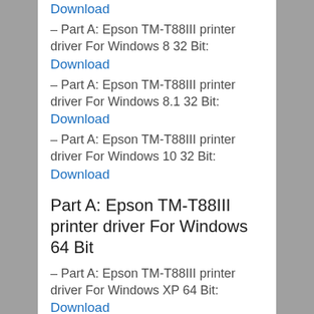Download
– Part A: Epson TM-T88III printer driver For Windows 8 32 Bit:
Download
– Part A: Epson TM-T88III printer driver For Windows 8.1 32 Bit:
Download
– Part A: Epson TM-T88III printer driver For Windows 10 32 Bit:
Download
Part A: Epson TM-T88III printer driver For Windows 64 Bit
– Part A: Epson TM-T88III printer driver For Windows XP 64 Bit:
Download
– Part A: Epson TM-T88III printer driver For Windows 7 64 Bit:
Download